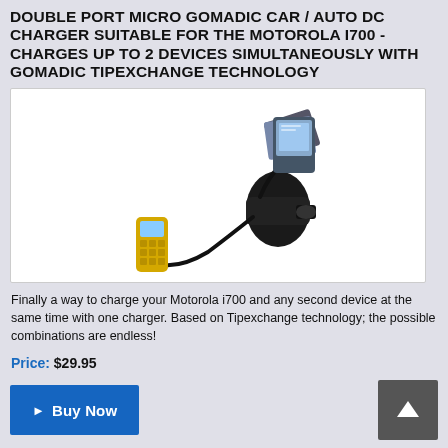DOUBLE PORT MICRO GOMADIC CAR / AUTO DC CHARGER SUITABLE FOR THE MOTOROLA I700 - CHARGES UP TO 2 DEVICES SIMULTANEOUSLY WITH GOMADIC TIPEXCHANGE TECHNOLOGY
[Figure (photo): Product photo of a Gomadic dual-port car charger with two cables attached — one connected to a yellow Motorola i700 phone and another to a stack of GPS/PDA devices. The black car charger adapter is shown plugging into the setup.]
Finally a way to charge your Motorola i700 and any second device at the same time with one charger. Based on Tipexchange technology; the possible combinations are endless!
Price: $29.95